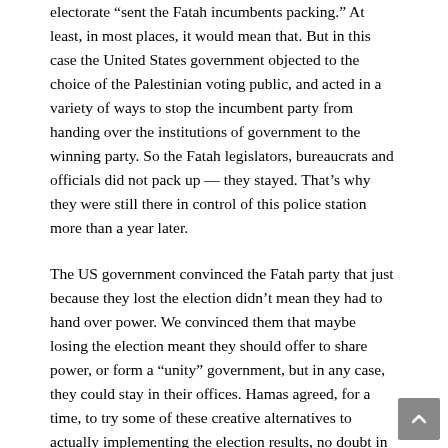electorate “sent the Fatah incumbents packing.” At least, in most places, it would mean that. But in this case the United States government objected to the choice of the Palestinian voting public, and acted in a variety of ways to stop the incumbent party from handing over the institutions of government to the winning party. So the Fatah legislators, bureaucrats and officials did not pack up — they stayed. That’s why they were still there in control of this police station more than a year later.
The US government convinced the Fatah party that just because they lost the election didn’t mean they had to hand over power. We convinced them that maybe losing the election meant they should offer to share power, or form a “unity” government, but in any case, they could stay in their offices. Hamas agreed, for a time, to try some of these creative alternatives to actually implementing the election results, no doubt in part because it seemed the only way to avoid suffering the full effect of embargoes and sanctions imposed by the US and Europe.